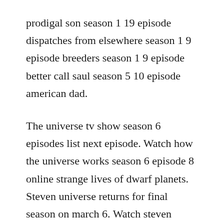prodigal son season 1 19 episode dispatches from elsewhere season 1 9 episode breeders season 1 9 episode better call saul season 5 10 episode american dad.
The universe tv show season 6 episodes list next episode. Watch how the universe works season 6 episode 8 online strange lives of dwarf planets. Steven universe returns for final season on march 6. Watch steven universe episodes online season 5 2019. Tvguide has every full episode so you can stayuptodate and watch your favorite show